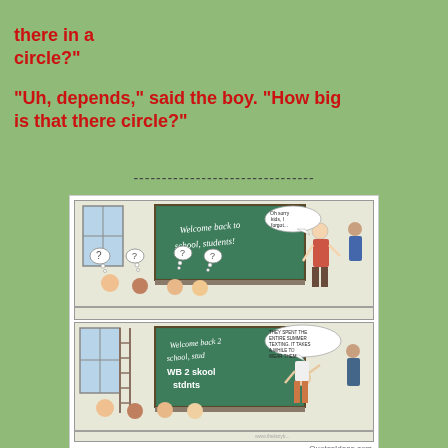there in a circle?"
"Uh, depends," said the boy. "How big is that there circle?"
--------------------------------
[Figure (illustration): Two-panel comic strip showing a classroom scene. Top panel: Teacher at a chalkboard reading 'Welcome back to school, students!' with students having question marks in thought bubbles, and another person saying 'Oh sorry kids, I forgot...'. Bottom panel: Same scene but teacher has written 'WB 2 skool stdnts' on the board in text speak, person says 'They spent the entire summer texting, it takes a while to wear them.' Students look confused. QuotesIdeas.com watermark.]